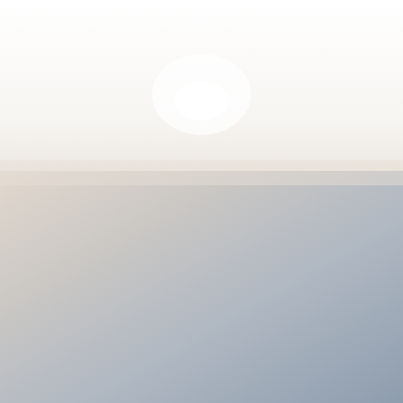[Figure (photo): Background image showing a soft blurred beach/coastal scene with muted beige, grey and blue tones. Upper portion is mostly white/light grey fading to beige. Lower portion shows blurred sandy and water tones in muted blues and greys.]
BE THE FIRST TO KNOW
Join my mailing list to receive regular parenting tips and be the first to know about upcoming events and courses.